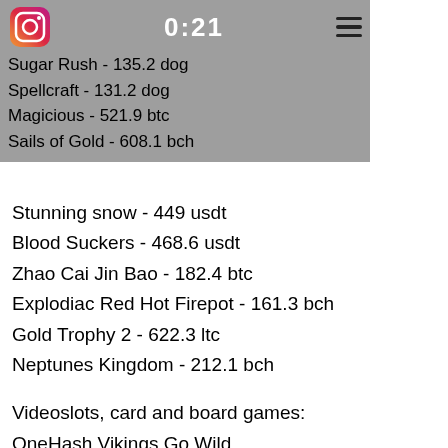Where Being creative comes naturally
Sugar Rush - 135.2 dog
Spellcraft - 131.2 dog
Magicious - 521.9 btc
Sails of Gold - 608.1 bch
Stunning snow - 449 usdt
Blood Suckers - 468.6 usdt
Zhao Cai Jin Bao - 182.4 btc
Explodiac Red Hot Firepot - 161.3 bch
Gold Trophy 2 - 622.3 ltc
Neptunes Kingdom - 212.1 bch
Videoslots, card and board games:
OneHash Vikings Go Wild
BitcoinCasino.us Wild Cherries
CryptoWild Casino Books Bulls
Sportsbet.io Heavy Metal Warriors
https://www.rageselect.com/profile/annabelleramaudar4740449/profile
https://www.hoteliery.com/profile/amadohust